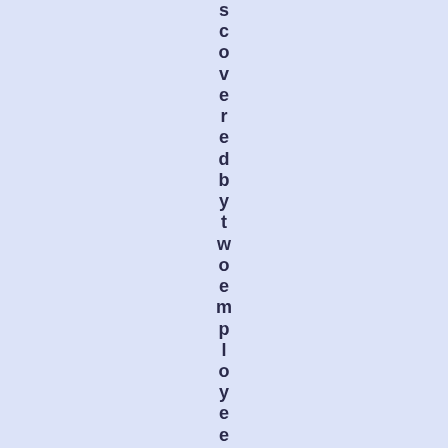scoveredbytwoemployeeswhohadst